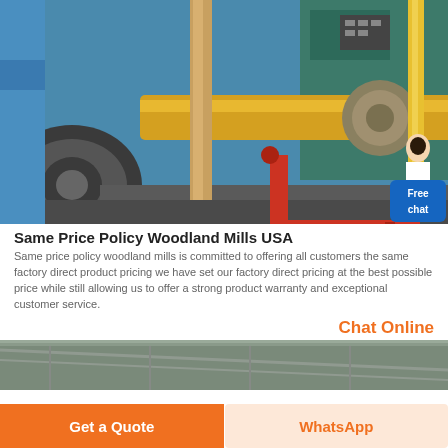[Figure (photo): Industrial machinery photo showing large rotating equipment with blue housing, yellow roller/shaft, red pipe, and yellow safety rail. A customer service avatar with 'Free chat' badge overlaid in bottom right.]
Same Price Policy Woodland Mills USA
Same price policy woodland mills is committed to offering all customers the same factory direct product pricing we have set our factory direct pricing at the best possible price while still allowing us to offer a strong product warranty and exceptional customer service.
Chat Online
[Figure (photo): Partial view of an industrial warehouse or factory interior, showing roof structure.]
Get a Quote
WhatsApp